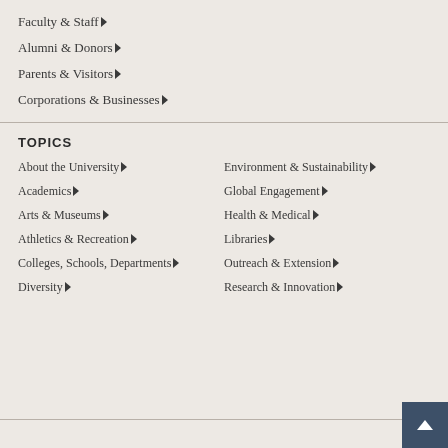Faculty & Staff ▶
Alumni & Donors ▶
Parents & Visitors ▶
Corporations & Businesses ▶
TOPICS
About the University ▶
Academics ▶
Arts & Museums ▶
Athletics & Recreation ▶
Colleges, Schools, Departments ▶
Diversity ▶
Environment & Sustainability ▶
Global Engagement ▶
Health & Medical ▶
Libraries ▶
Outreach & Extension ▶
Research & Innovation ▶